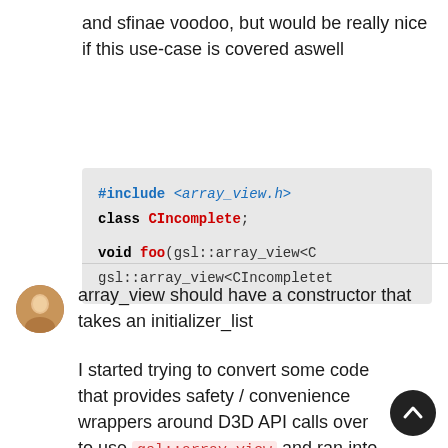and sfinae voodoo, but would be really nice if this use-case is covered aswell
[Figure (screenshot): Code block showing: #include <array_view.h>, class CIncomplete;, void foo(gsl::array_view<C, gsl::array_view<CIncomplete]
array_view should have a constructor that takes an initializer_list
I started trying to convert some code that provides safety / convenience wrappers around D3D API calls over to use gsl::array_view and ran into